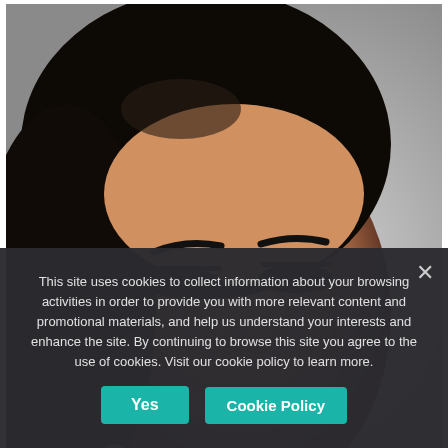[Figure (photo): Close-up portrait photo of a woman with dark hair, heavy eye makeup and long lashes, wearing a crystal earring, looking upward against a light grey background.]
10 Popular Asian Actresses That Look Irresistible
This site uses cookies to collect information about your browsing activities in order to provide you with more relevant content and promotional materials, and help us understand your interests and enhance the site. By continuing to browse this site you agree to the use of cookies. Visit our cookie policy to learn more.